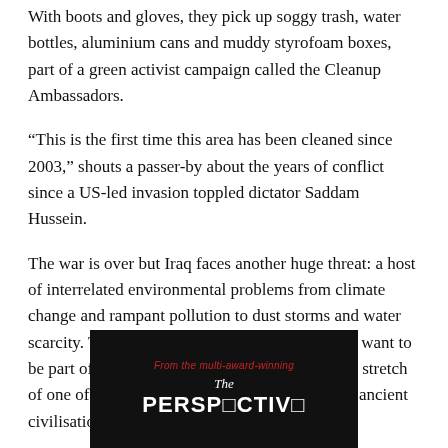With boots and gloves, they pick up soggy trash, water bottles, aluminium cans and muddy styrofoam boxes, part of a green activist campaign called the Cleanup Ambassadors.
“This is the first time this area has been cleaned since 2003,” shouts a passer-by about the years of conflict since a US-led invasion toppled dictator Saddam Hussein.
The war is over but Iraq faces another huge threat: a host of interrelated environmental problems from climate change and rampant pollution to dust storms and water scarcity. The 200 volunteers at work in Baghdad want to be part of the solution, removing garbage from a stretch of one of the mighty rivers that gave birth to the ancient civilisations of Mesopotamia.
[Figure (other): Advertisement banner with dark background. Red italic text reads 'From the multi-award-winning', followed by italic white text 'The' and bold white stylized text 'PERSPECTIVE' with a broken/glitched letter style.]